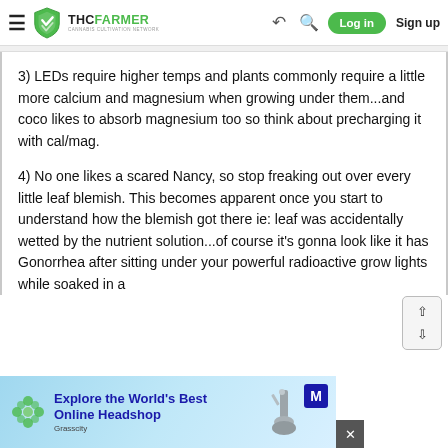THC FARMER — Cannabis Cultivation Network — Log in — Sign up
3) LEDs require higher temps and plants commonly require a little more calcium and magnesium when growing under them...and coco likes to absorb magnesium too so think about precharging it with cal/mag.
4) No one likes a scared Nancy, so stop freaking out over every little leaf blemish. This becomes apparent once you start to understand how the blemish got there ie: leaf was accidentally wetted by the nutrient solution...of course it's gonna look like it has Gonorrhea after sitting under your powerful radioactive grow lights while soaked in a
[Figure (screenshot): Grasscity advertisement banner: 'Explore the World's Best Online Headshop' with logo and M badge]